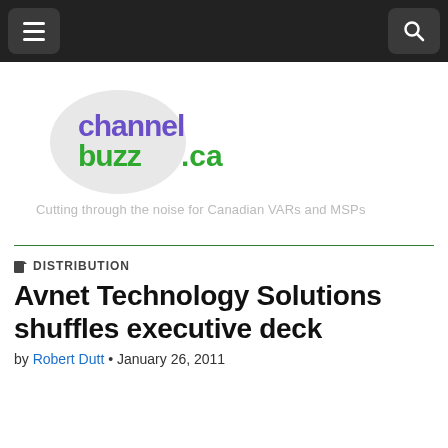channelbuzz.ca — navigation header
[Figure (logo): channelbuzz.ca logo with speech bubble icon, 'channel' in purple, 'buzz' in green, '.ca' in green]
Cutting through the noise for Canadian VARs and MSPs
DISTRIBUTION
Avnet Technology Solutions shuffles executive deck
by Robert Dutt • January 26, 2011